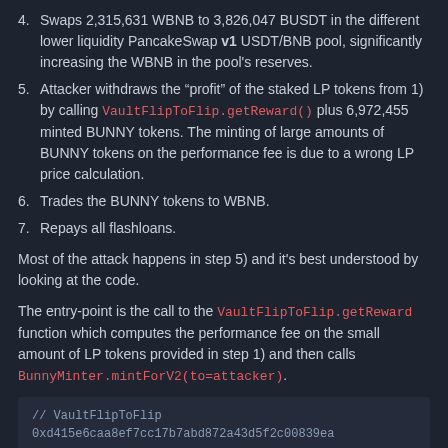4. Swaps 2,315,631 WBNB to 3,826,047 BUSDT in the different lower liquidity PancakeSwap v1 USDT/BNB pool, significantly increasing the WBNB in the pool's reserves.
5. Attacker withdraws the “profit” of the staked LP tokens from 1) by calling VaultFlipToFlip.getReward() plus 6,972,455 minted BUNNY tokens. The minting of large amounts of BUNNY tokens on the performance fee is due to a wrong LP price calculation.
6. Trades the BUNNY tokens to WBNB.
7. Repays all flashloans.
Most of the attack happens in step 5) and it’s best understood by looking at the code.
The entry-point is the call to the VaultFlipToFlip.getReward function which computes the performance fee on the small amount of LP tokens provided in step 1) and then calls BunnyMinter.mintForV2(to=attacker).
[Figure (screenshot): Code snippet showing // VaultFlipToFlip comment and a contract address starting with 0xd415e6caa8ef7cc17b7abd872a43d5f2c00839ea]